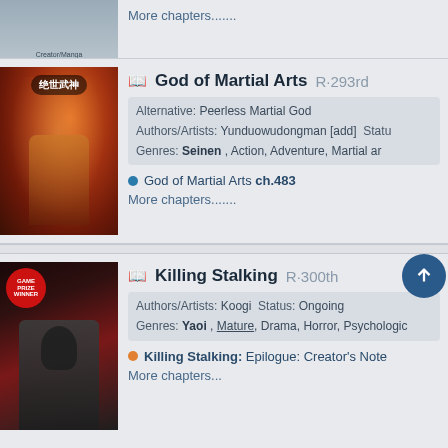[Figure (illustration): Partially visible manga cover at top of page]
More chapters.......
[Figure (illustration): God of Martial Arts manga cover showing anime-style warrior character with Chinese text 绝世武神]
God of Martial Arts  R·293rd
Alternative:  Peerless Martial God
Authors/Artists:  Yunduowudongman [add]   Status:
Genres:  Seinen , Action, Adventure, Martial arts
God of Martial Arts ch.483
More chapters.......
[Figure (illustration): Killing Stalking manga cover showing dark-haired character in dark setting]
Killing Stalking  R·300th
Authors/Artists:  Koogi   Status: Ongoing
Genres:  Yaoi , Mature, Drama, Horror, Psychological
Killing Stalking: Epilogue: Creator's Note
More chapters...